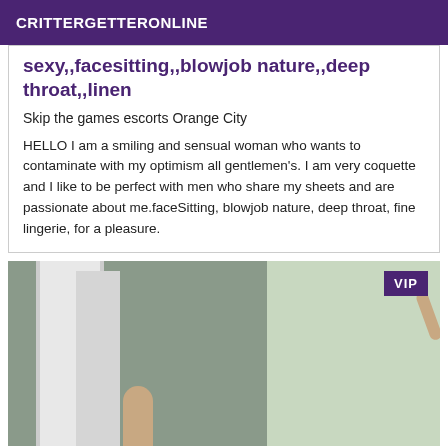CRITTERGETTERONLINE
sexy,,facesitting,,blowjob nature,,deep throat,,linen
Skip the games escorts Orange City
HELLO I am a smiling and sensual woman who wants to contaminate with my optimism all gentlemen's. I am very coquette and I like to be perfect with men who share my sheets and are passionate about me.faceSitting, blowjob nature, deep throat, fine lingerie, for a pleasure.
[Figure (photo): Photo showing a room with a door frame and a partial view of a person, with a VIP badge overlay in the top right corner]